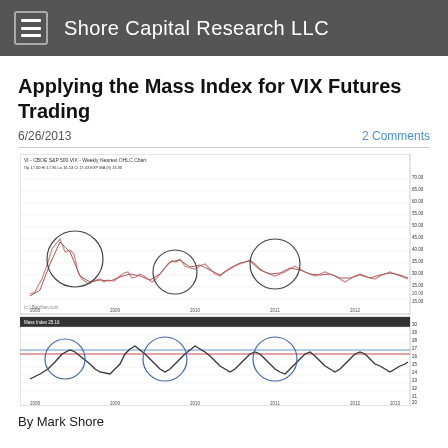Shore Capital Research LLC
Applying the Mass Index for VIX Futures Trading
6/26/2013
2 Comments
[Figure (continuous-plot): VIX - CBOE S&P 500 VIX Weekly Nearest OHLC Chart showing VIX price history from approximately 2008 to 2013 with circled spike regions, and below it a Mass Index indicator panel with horizontal reference lines and circled signal regions. The Mass Index oscillator shows values with a blue line and a red reference line around 27.]
By Mark Shore